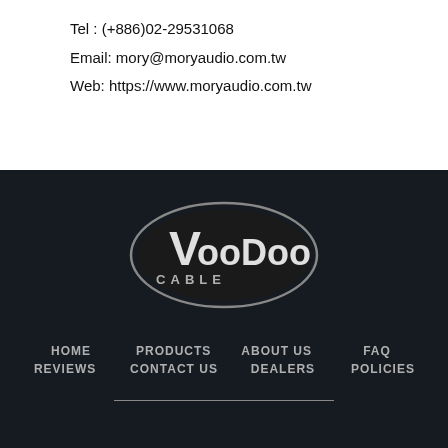Tel : (+886)02-29531068
Email: mory@moryaudio.com.tw
Web: https://www.moryaudio.com.tw
[Figure (logo): VooDoo Cable oval logo — dark oval with silver border, white text 'VooDoo' large and 'CABLE' smaller below]
HOME   PRODUCTS   ABOUT US   FAQ
REVIEWS   CONTACT US   DEALERS   POLICIES